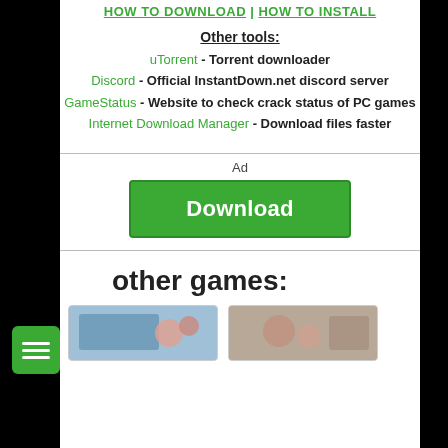HOW TO DOWNLOAD | HOW TO INSTALL
Other tools:
uTorrent - Torrent downloader
Discord - Official InstantDown.net discord server
GameStatus - Website to check crack status of PC games
Internet Download Manager - Download files faster
[Figure (other): Green Download button advertisement with label 'Ad' above it]
other games:
[Figure (photo): Two game thumbnail images partially visible at bottom of page]